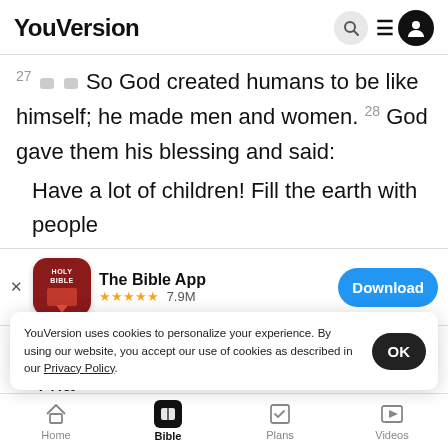YouVersion
27 So God created humans to be like himself; he made men and women. 28 God gave them his blessing and said: Have a lot of children! Fill the earth with people
[Figure (screenshot): The Bible App download banner with app icon, star rating 7.9M, and Download button]
every animal on the earth
29 I ha
you to eat. And I have given the green plants
YouVersion uses cookies to personalize your experience. By using our website, you accept our use of cookies as described in our Privacy Policy.
Home  Bible  Plans  Videos